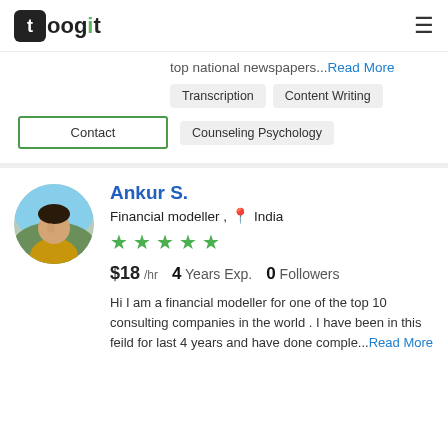toogit
top national newspapers...Read More
Transcription
Content Writing
Counseling Psychology
Contact
Ankur S.
Financial modeller , India
★★★★★ (0 stars)
$18 /hr   4 Years Exp.   0 Followers
Hi I am a financial modeller for one of the top 10 consulting companies in the world . I have been in this feild for last 4 years and have done comple...Read More